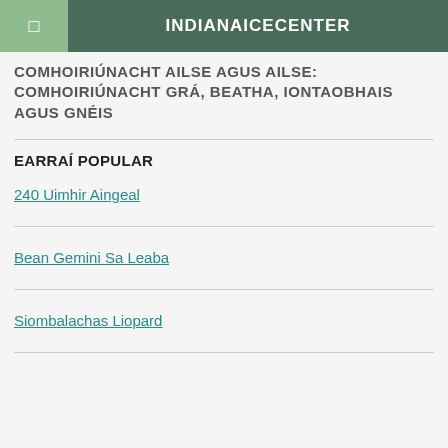INDIANAICECENTER
COMHOIRIÚNACHT AILSE AGUS AILSE: COMHOIRIÚNACHT GRÁ, BEATHA, IONTAOBHAIS AGUS GNÉIS
EARRAÍ POPULAR
240 Uimhir Aingeal
Bean Gemini Sa Leaba
Siombalachas Liopard